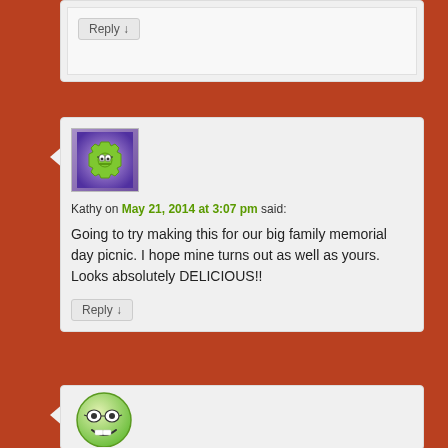Reply ↓
Kathy on May 21, 2014 at 3:07 pm said:
[Figure (illustration): Green gear-shaped avatar with glasses on purple background]
Going to try making this for our big family memorial day picnic. I hope mine turns out as well as yours. Looks absolutely DELICIOUS!!
Reply ↓
[Figure (illustration): Green smiley face avatar with glasses]